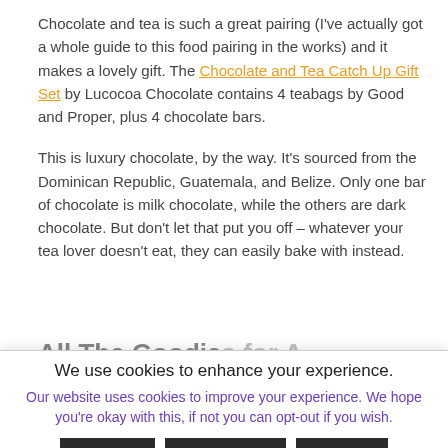Chocolate and tea is such a great pairing (I've actually got a whole guide to this food pairing in the works) and it makes a lovely gift. The Chocolate and Tea Catch Up Gift Set by Lucocoa Chocolate contains 4 teabags by Good and Proper, plus 4 chocolate bars.
This is luxury chocolate, by the way. It's sourced from the Dominican Republic, Guatemala, and Belize. Only one bar of chocolate is milk chocolate, while the others are dark chocolate. But don't let that put you off – whatever your tea lover doesn't eat, they can easily bake with instead.
All The Goodies for A Tea...
We use cookies to enhance your experience.
Our website uses cookies to improve your experience. We hope you're okay with this, if not you can opt-out if you wish.